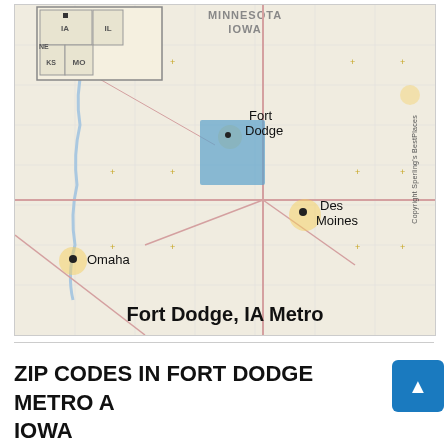[Figure (map): Regional map showing Fort Dodge, IA Metro area with surrounding cities (Des Moines, Omaha), state labels (MINNESOTA, IOWA), and a blue highlighted region near Fort Dodge. Inset map in top-left shows location within Midwest states (IA, IL, MO, KS, NE). Copyright Sperling's BestPlaces. Label at bottom reads 'Fort Dodge, IA Metro'.]
ZIP CODES IN FORT DODGE METRO AREA, IOWA